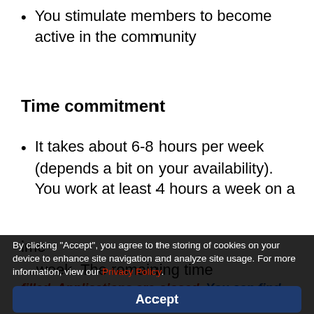You stimulate members to become active in the community
Time commitment
It takes about 6-8 hours per week (depends a bit on your availability). You work at least 4 hours a week on a
By clicking "Accept", you agree to the storing of cookies on your device to enhance site navigation and analyze site usage. For more information, view our Privacy Policy.
Accept
Manage